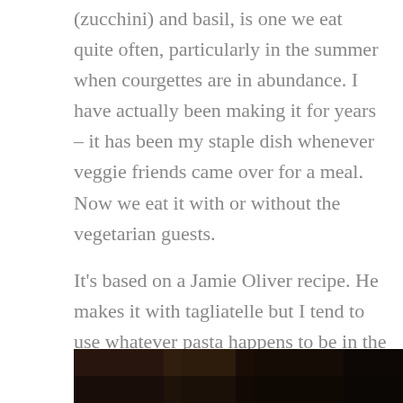(zucchini) and basil, is one we eat quite often, particularly in the summer when courgettes are in abundance. I have actually been making it for years – it has been my staple dish whenever veggie friends came over for a meal. Now we eat it with or without the vegetarian guests.
It's based on a Jamie Oliver recipe. He makes it with tagliatelle but I tend to use whatever pasta happens to be in the cupboard. Pappardelle is my favourite for this. Oh yes, and I use much more garlic than Jamie.
[Figure (photo): A dark food photograph showing what appears to be a wooden surface or cooked dish, mostly dark tones at the bottom of the page.]